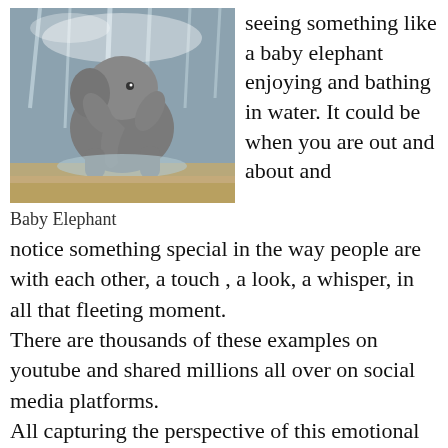[Figure (photo): A baby elephant playing and bathing in water with a waterfall or water spray in the background.]
Baby Elephant
seeing something like a baby elephant  enjoying and bathing in water. It could be when you are out and about and notice something special in the way people are with each other, a touch , a look, a whisper, in all that fleeting moment.
There are thousands of these examples on youtube and shared millions all over on social media platforms.
All capturing the perspective of this emotional content of pure magic.
I want you all to start to notice these. The way our brains rewires this appreciation is creating a